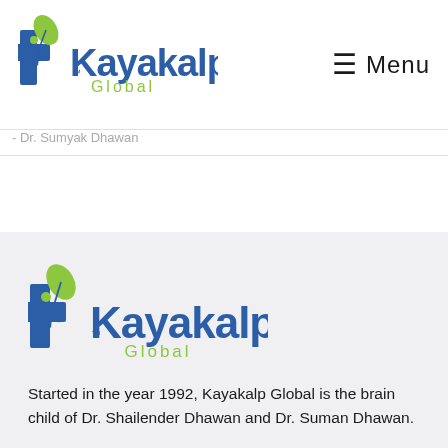[Figure (logo): Kayakalp Global logo with blue plus sign, green leaf and human figure, blue and green text reading Kayakalp Global with TM mark]
☰ Menu
- Dr. Sumyak Dhawan
[Figure (logo): Kayakalp Global logo repeated in bottom grey section with hexagon background pattern]
Started in the year 1992, Kayakalp Global is the brain child of Dr. Shailender Dhawan and Dr. Suman Dhawan.